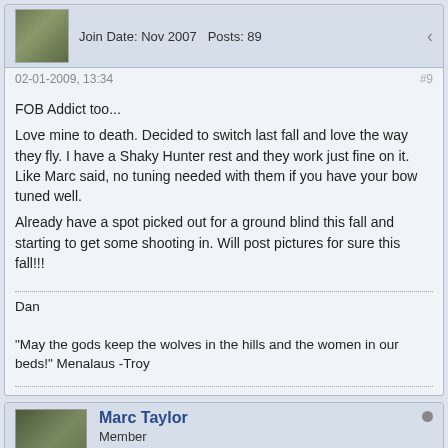Join Date: Nov 2007   Posts: 89
02-01-2009, 13:34  #9
FOB Addict too...
Love mine to death. Decided to switch last fall and love the way they fly. I have a Shaky Hunter rest and they work just fine on it. Like Marc said, no tuning needed with them if you have your bow tuned well.
Already have a spot picked out for a ground blind this fall and starting to get some shooting in. Will post pictures for sure this fall!!!
Dan
"May the gods keep the wolves in the hills and the women in our beds!" Menalaus -Troy
Marc Taylor
Member
Join Date: Apr 2006   Posts: 1280